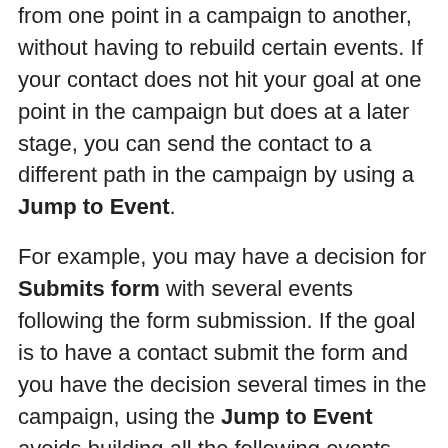from one point in a campaign to another, without having to rebuild certain events. If your contact does not hit your goal at one point in the campaign but does at a later stage, you can send the contact to a different path in the campaign by using a Jump to Event.
For example, you may have a decision for Submits form with several events following the form submission. If the goal is to have a contact submit the form and you have the decision several times in the campaign, using the Jump to Event avoids building all the following events many times.
Modify contact's segments: Adds or removes contacts to/from segments. If a contact is removed from a dynamic (filter-based) segment by a campaign action, they are not re-added to the